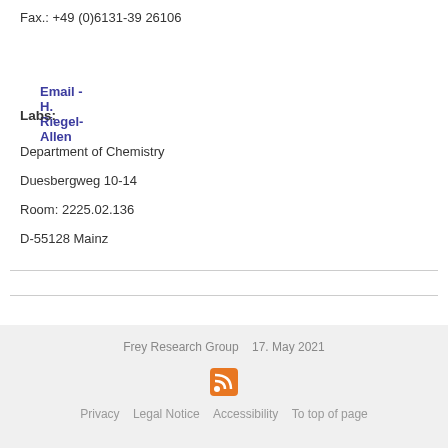Fax.: +49 (0)6131-39 26106
Email - H. Riegel-Allen
Labs:
Department of Chemistry
Duesbergweg 10-14
Room: 2225.02.136
D-55128 Mainz
Frey Research Group   17. May 2021
Privacy   Legal Notice   Accessibility   To top of page